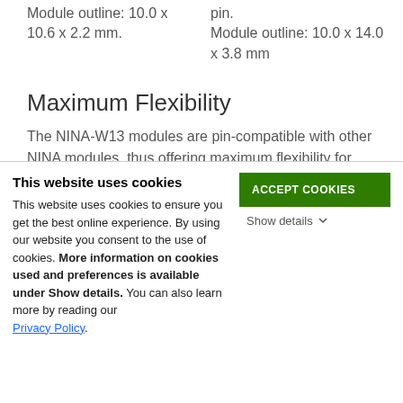Module outline: 10.0 x 10.6 x 2.2 mm.
pin. Module outline: 10.0 x 14.0 x 3.8 mm
Maximum Flexibility
The NINA-W13 modules are pin-compatible with other NINA modules, thus offering maximum flexibility for
This website uses cookies
This website uses cookies to ensure you get the best online experience. By using our website you consent to the use of cookies. More information on cookies used and preferences is available under Show details. You can also learn more by reading our Privacy Policy.